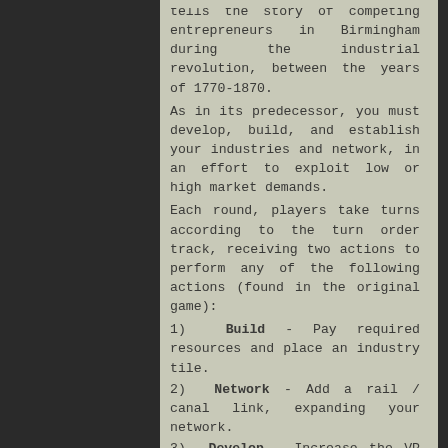tells the story of competing entrepreneurs in Birmingham during the industrial revolution, between the years of 1770-1870.
As in its predecessor, you must develop, build, and establish your industries and network, in an effort to exploit low or high market demands.
Each round, players take turns according to the turn order track, receiving two actions to perform any of the following actions (found in the original game):
1)  Build - Pay required resources and place an industry tile.
2)  Network - Add a rail / canal link, expanding your network.
3)  Develop - Increase the VP value of an industry.
4)  Sell - Sell your cotton, manufactured goods and pottery.
5)  Loan - Take a £30 loan and reduce your income.
Brass: Birmingham also features a new sixth action:
6)  Scout - Discard three cards and take a wild location and wild industry card. (This